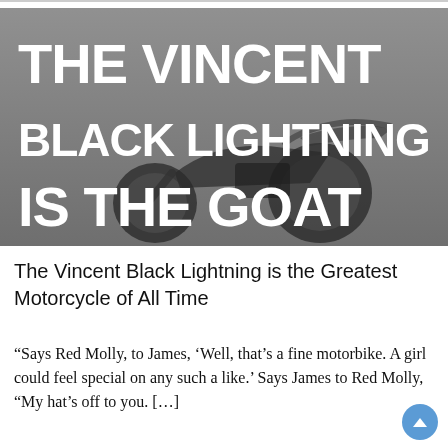[Figure (photo): A black and white photo of a vintage motorcycle (Vincent Black Lightning) with large bold white text overlaid reading 'THE VINCENT BLACK LIGHTNING IS THE GOAT']
The Vincent Black Lightning is the Greatest Motorcycle of All Time
“Says Red Molly, to James, ‘Well, that’s a fine motorbike. A girl could feel special on any such a like.’ Says James to Red Molly, “My hat’s off to you. […]